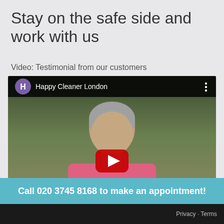Stay on the safe side and work with us
Video: Testimonial from our customers
[Figure (screenshot): YouTube video embed showing a man in a pink sweater. Channel name: Happy Cleaner London. Red YouTube play button overlay in center.]
Call 020 3745 8168 to make an appointment!
Privacy · Terms